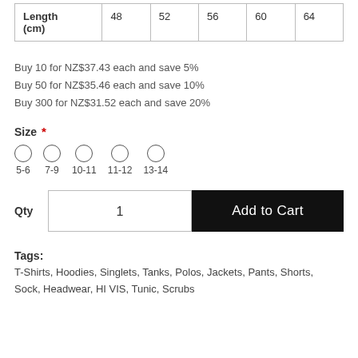| Length (cm) | 48 | 52 | 56 | 60 | 64 |
| --- | --- | --- | --- | --- | --- |
Buy 10 for NZ$37.43 each and save 5%
Buy 50 for NZ$35.46 each and save 10%
Buy 300 for NZ$31.52 each and save 20%
Size *
5-6  7-9  10-11  11-12  13-14
Qty  1  Add to Cart
Tags:
T-Shirts, Hoodies, Singlets, Tanks, Polos, Jackets, Pants, Shorts, Sock, Headwear, HI VIS, Tunic, Scrubs